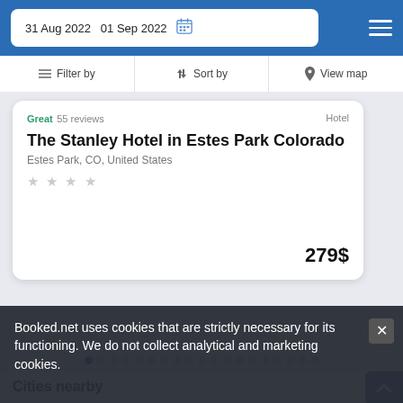31 Aug 2022  01 Sep 2022
Filter by  Sort by  View map
Great 55 reviews
The Stanley Hotel in Estes Park Colorado
Estes Park, CO, United States
★★★★
279$
Cities nearby
Booked.net uses cookies that are strictly necessary for its functioning. We do not collect analytical and marketing cookies.